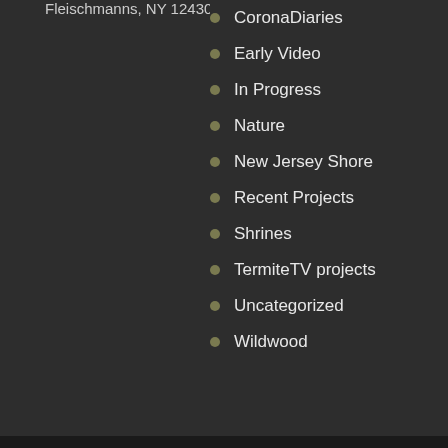Fleischmanns, NY 12430
CoronaDiaries
Early Video
In Progress
Nature
New Jersey Shore
Recent Projects
Shrines
TermiteTV projects
Uncategorized
Wildwood